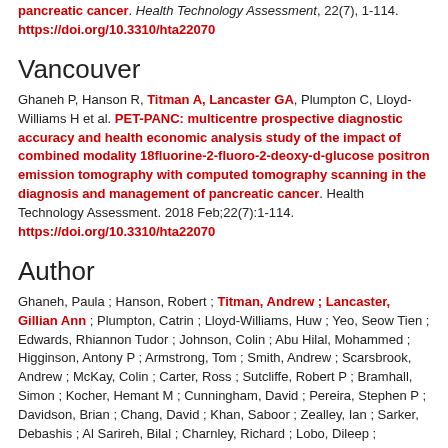pancreatic cancer. Health Technology Assessment, 22(7), 1-114. https://doi.org/10.3310/hta22070
Vancouver
Ghaneh P, Hanson R, Titman A, Lancaster GA, Plumpton C, Lloyd-Williams H et al. PET-PANC: multicentre prospective diagnostic accuracy and health economic analysis study of the impact of combined modality 18fluorine-2-fluoro-2-deoxy-d-glucose positron emission tomography with computed tomography scanning in the diagnosis and management of pancreatic cancer. Health Technology Assessment. 2018 Feb;22(7):1-114. https://doi.org/10.3310/hta22070
Author
Ghaneh, Paula ; Hanson, Robert ; Titman, Andrew ; Lancaster, Gillian Ann ; Plumpton, Catrin ; Lloyd-Williams, Huw ; Yeo, Seow Tien ; Edwards, Rhiannon Tudor ; Johnson, Colin ; Abu Hilal, Mohammed ; Higginson, Antony P ; Armstrong, Tom ; Smith, Andrew ; Scarsbrook, Andrew ; McKay, Colin ; Carter, Ross ; Sutcliffe, Robert P ; Bramhall, Simon ; Kocher, Hemant M ; Cunningham, David ; Pereira, Stephen P ; Davidson, Brian ; Chang, David ; Khan, Saboor ; Zealley, Ian ; Sarker, Debashis ; Al Sarireh, Bilal ; Charnley, Richard ; Lobo, Dileep ; Nicolson, Marianne ; Halloran, Christopher ; Raraty, Michael ; Sutton, Robert ; Vinjamuri, Sobhan ; Evans, Jonathan ; Campbell, Fiona ; Deeks, Jon ; Sanghera, Bal ; Wong, Wai-Lup ; Neoptolemos, John P. / PET-PANC : multicentre prospective diagnostic accuracy and health economic analysis study of the impact of